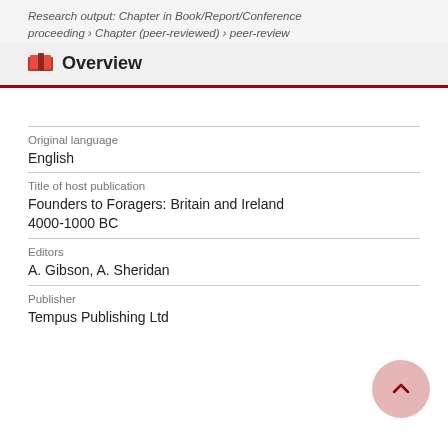Research output: Chapter in Book/Report/Conference proceeding › Chapter (peer-reviewed) › peer-review
Overview
| Original language | English |
| Title of host publication | Founders to Foragers: Britain and Ireland 4000-1000 BC |
| Editors | A. Gibson, A. Sheridan |
| Publisher | Tempus Publishing Ltd |